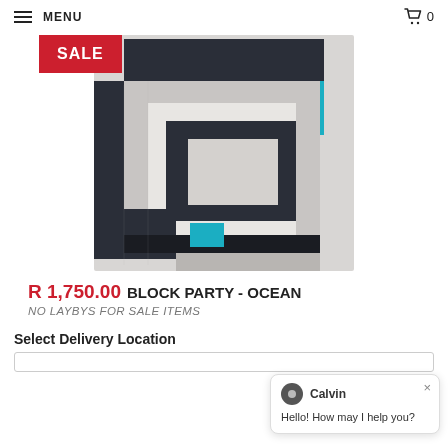MENU  0
[Figure (photo): A geometric rug with concentric rectangular patterns in dark navy/black, light grey, and accent turquoise/cyan colors, with a red SALE badge overlay]
R 1,750.00 BLOCK PARTY - OCEAN
NO LAYBYS FOR SALE ITEMS
Select Delivery Location